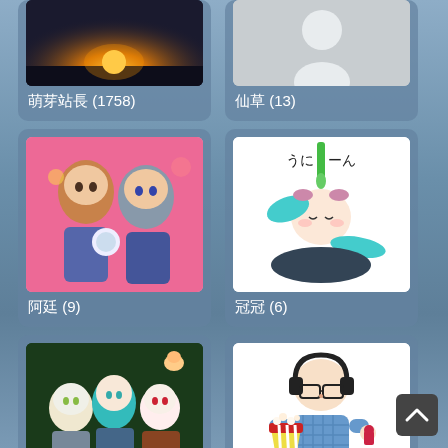[Figure (screenshot): Website user/contributor grid showing avatar images with Chinese names and counts. Row 1 (partial): 萌芽站長 (1758), 仙草 (13). Row 2: 阿廷 (9), 冠冠 (6). Row 3: 贊助 (6), 傑森 (4). Row 4 (partial): two more partially visible cards.]